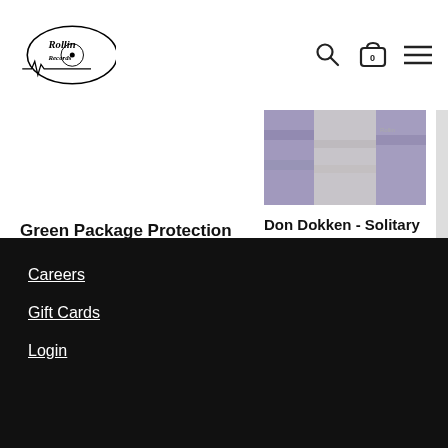Rollin Records — navigation header with search, cart (0), and menu icons
Green Package Protection
From $0.98
[Figure (photo): Product image for Don Dokken - Solitary (White Colored Vinyl), showing vinyl record sleeve with purple and grey tones]
Don Dokken - Solitary (White Colored Vinyl)
$25.98
Carousel navigation dots: 4 dots, first active
Careers
Gift Cards
Login